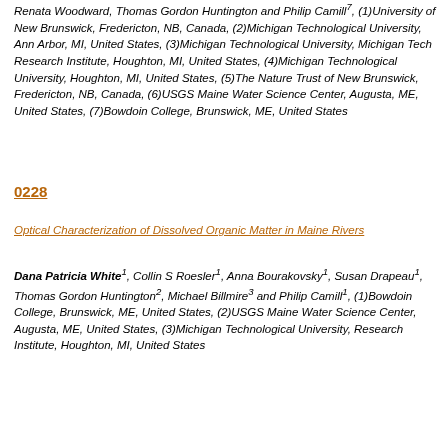Renata Woodward, Thomas Gordon Huntington and Philip Camill7, (1)University of New Brunswick, Fredericton, NB, Canada, (2)Michigan Technological University, Ann Arbor, MI, United States, (3)Michigan Technological University, Michigan Tech Research Institute, Houghton, MI, United States, (4)Michigan Technological University, Houghton, MI, United States, (5)The Nature Trust of New Brunswick, Fredericton, NB, Canada, (6)USGS Maine Water Science Center, Augusta, ME, United States, (7)Bowdoin College, Brunswick, ME, United States
0228
Optical Characterization of Dissolved Organic Matter in Maine Rivers
Dana Patricia White1, Collin S Roesler1, Anna Bourakovsky1, Susan Drapeau1, Thomas Gordon Huntington2, Michael Billmire3 and Philip Camill1, (1)Bowdoin College, Brunswick, ME, United States, (2)USGS Maine Water Science Center, Augusta, ME, United States, (3)Michigan Technological University, Research Institute, Houghton, MI, United States